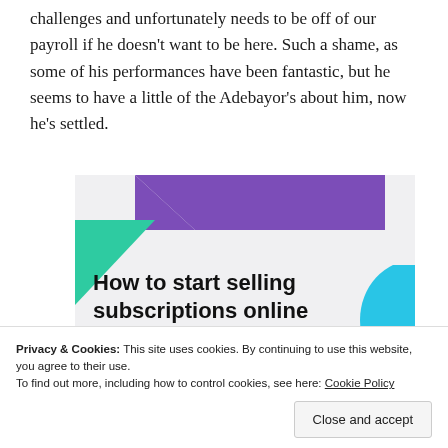challenges and unfortunately needs to be off of our payroll if he doesn't want to be here. Such a shame, as some of his performances have been fantastic, but he seems to have a little of the Adebayor's about him, now he's settled.
[Figure (illustration): Advertisement banner: 'How to start selling subscriptions online' with purple, teal and blue geometric shapes on a light grey background]
Privacy & Cookies: This site uses cookies. By continuing to use this website, you agree to their use. To find out more, including how to control cookies, see here: Cookie Policy